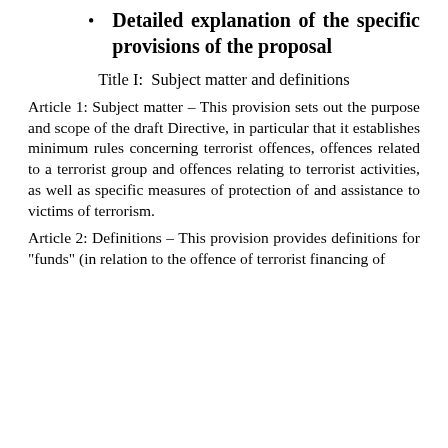Detailed explanation of the specific provisions of the proposal
Title I: Subject matter and definitions
Article 1: Subject matter – This provision sets out the purpose and scope of the draft Directive, in particular that it establishes minimum rules concerning terrorist offences, offences related to a terrorist group and offences relating to terrorist activities, as well as specific measures of protection of and assistance to victims of terrorism.
Article 2: Definitions – This provision provides definitions for "funds" (in relation to the offence of terrorist financing of